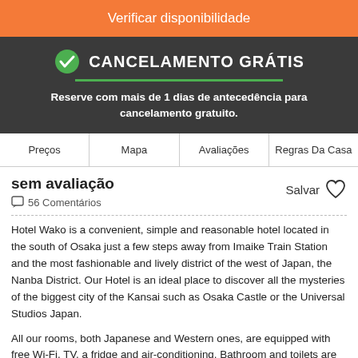Verificar disponibilidade
CANCELAMENTO GRÁTIS
Reserve com mais de 1 dias de antecedência para cancelamento gratuito.
Preços | Mapa | Avaliações | Regras Da Casa
sem avaliação
56 Comentários
Salvar
Hotel Wako is a convenient, simple and reasonable hotel located in the south of Osaka just a few steps away from Imaike Train Station and the most fashionable and lively district of the west of Japan, the Nanba District. Our Hotel is an ideal place to discover all the mysteries of the biggest city of the Kansai such as Osaka Castle or the Universal Studios Japan.
All our rooms, both Japanese and Western ones, are equipped with free Wi-Fi, TV, a fridge and air-conditioning. Bathroom and toilets are shared. We also provide en-suite rooms to, if further comfort and privacy is required.